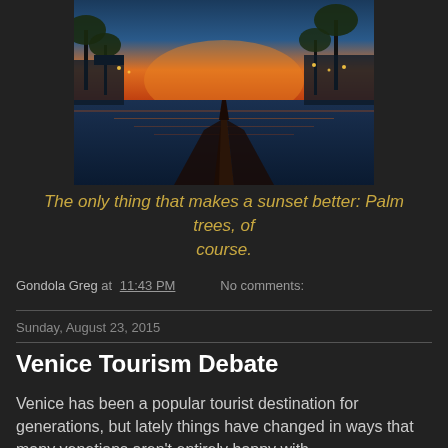[Figure (photo): A gondola or boat bow pointing toward a marina at sunset with palm trees silhouetted against an orange and blue sky, water reflections visible]
The only thing that makes a sunset better: Palm trees, of course.
Gondola Greg at 11:43 PM   No comments:
Sunday, August 23, 2015
Venice Tourism Debate
Venice has been a popular tourist destination for generations, but lately things have changed in ways that many venetians aren't entirely happy with.